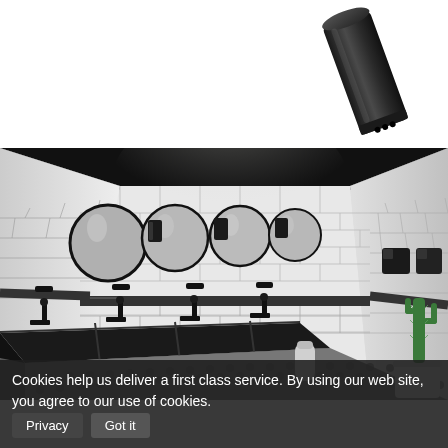[Figure (photo): A black cylindrical product (likely a tap or faucet component) photographed against a white background, positioned in the upper-right area of the page.]
[Figure (photo): Interior rendering of a modern public restroom with white subway tile walls, black ceiling, a long black countertop sink with multiple basin sections, round mirrors above the sink, black faucets, wall-mounted black accessories, patterned floor tiles, and a cactus plant in the far right corner.]
Cookies help us deliver a first class service. By using our web site, you agree to our use of cookies. Privacy Got it